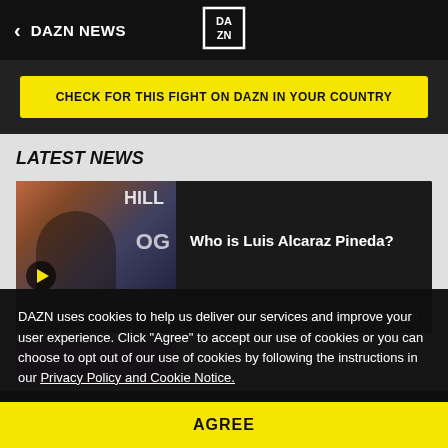DAZN NEWS
CHECK FOR THIS FIGHT ON DAZN IN YOUR COUNTRY
LATEST NEWS
[Figure (screenshot): News article thumbnail showing a boxer, with play button icon. Text visible: HILL, OG]
Who is Luis Alcaraz Pineda?
KSI   Aug 25 | 11:01PM  2 min read
DAZN uses cookies to help us deliver our services and improve your user experience. Click “Agree” to accept our use of cookies or you can choose to opt out of our use of cookies by following the instructions in our Privacy Policy and Cookie Notice.
AGREE